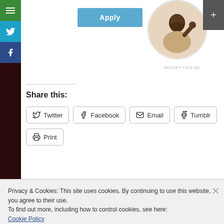[Figure (screenshot): Sidebar with hamburger menu (green), Twitter (blue), Facebook (dark blue) icons on left; Apply button (light blue); circular profile photo of person; plus button on right]
REPORT THIS AD
Share this:
Twitter  Facebook  Email  Tumblr  Print
Loading...
Privacy & Cookies: This site uses cookies. By continuing to use this website, you agree to their use.
To find out more, including how to control cookies, see here:
Cookie Policy
Close and accept